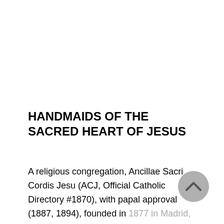HANDMAIDS OF THE SACRED HEART OF JESUS
A religious congregation, Ancillae Sacri Cordis Jesu (ACJ, Official Catholic Directory #1870), with papal approval (1887, 1894), founded in 1877 in Madrid, Spain, by St. Rafaela